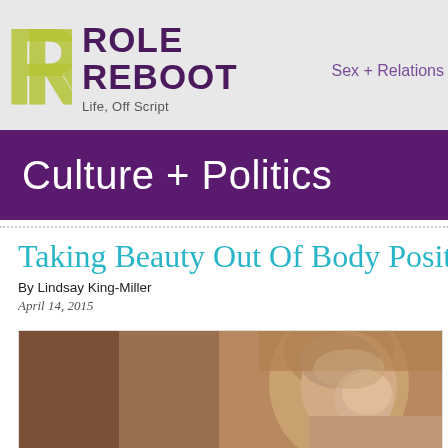ROLE REBOOT
Life, Off Script
Sex + Relations
Culture + Politics
Taking Beauty Out Of Body Positi
By Lindsay King-Miller
April 14, 2015
[Figure (photo): Portrait photo of a woman with blonde hair looking upward, against a brown background]